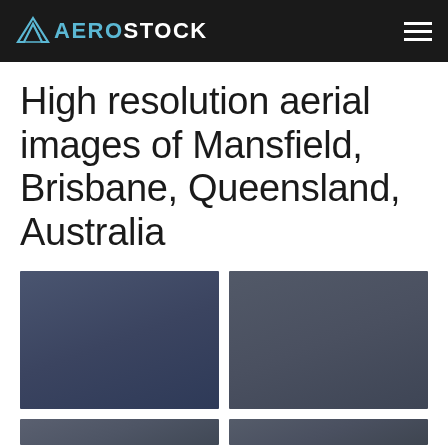AEROSTOCK
High resolution aerial images of Mansfield, Brisbane, Queensland, Australia
[Figure (photo): Aerial image thumbnail placeholder 1 - dark blue-grey tone]
[Figure (photo): Aerial image thumbnail placeholder 2 - dark grey tone]
[Figure (photo): Aerial image thumbnail placeholder 3 - partially visible]
[Figure (photo): Aerial image thumbnail placeholder 4 - partially visible]